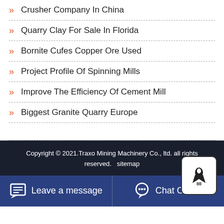Crusher Company In China
Quarry Clay For Sale In Florida
Bornite Cufes Copper Ore Used
Project Profile Of Spinning Mills
Improve The Efficiency Of Cement Mill
Biggest Granite Quarry Europe
Copyright © 2021.Traxo Mining Machinery Co., ltd. all rights reserved.   sitemap